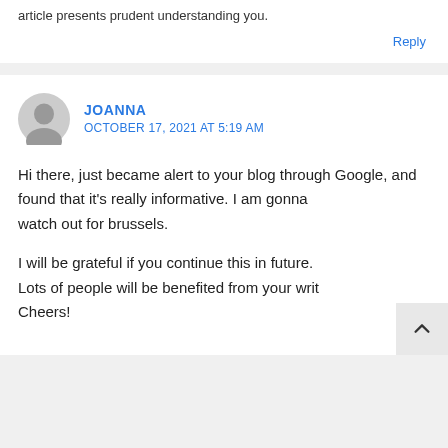article presents prudent understanding you.
Reply
JOANNA
OCTOBER 17, 2021 AT 5:19 AM
Hi there, just became alert to your blog through Google, and found that it's really informative. I am gonna watch out for brussels.

I will be grateful if you continue this in future. Lots of people will be benefited from your writ Cheers!